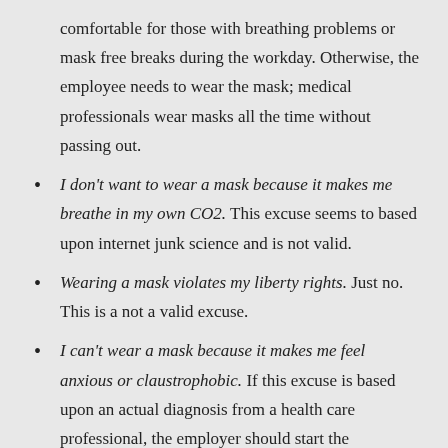comfortable for those with breathing problems or mask free breaks during the workday. Otherwise, the employee needs to wear the mask; medical professionals wear masks all the time without passing out.
I don't want to wear a mask because it makes me breathe in my own CO2. This excuse seems to based upon internet junk science and is not valid.
Wearing a mask violates my liberty rights. Just no. This is a not a valid excuse.
I can't wear a mask because it makes me feel anxious or claustrophobic. If this excuse is based upon an actual diagnosis from a health care professional, the employer should start the